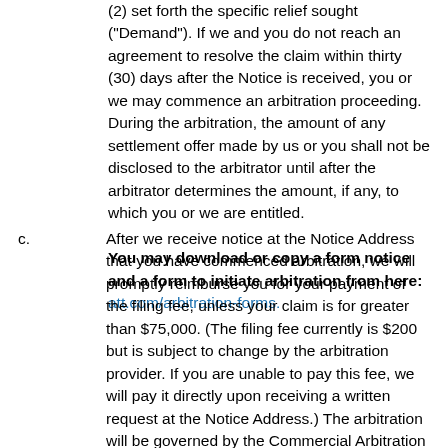(2) set forth the specific relief sought ("Demand"). If we and you do not reach an agreement to resolve the claim within thirty (30) days after the Notice is received, you or we may commence an arbitration proceeding. During the arbitration, the amount of any settlement offer made by us or you shall not be disclosed to the arbitrator until after the arbitrator determines the amount, if any, to which you or we are entitled.
You may download or copy a form notice and a form to initiate arbitration from here: att.com/arbitration-forms.
c. After we receive notice at the Notice Address that you have commenced arbitration, we will promptly reimburse you for your payment of the filing fee, unless your claim is for greater than $75,000. (The filing fee currently is $200 but is subject to change by the arbitration provider. If you are unable to pay this fee, we will pay it directly upon receiving a written request at the Notice Address.) The arbitration will be governed by the Commercial Arbitration Rules and the Supplementary Procedures for Consumer Related Disputes (collectively, "AAA Rules") of the American Arbitration Association ("AAA"), as modified by this Agreement, and will be administered by the AAA. The AAA Rules are available